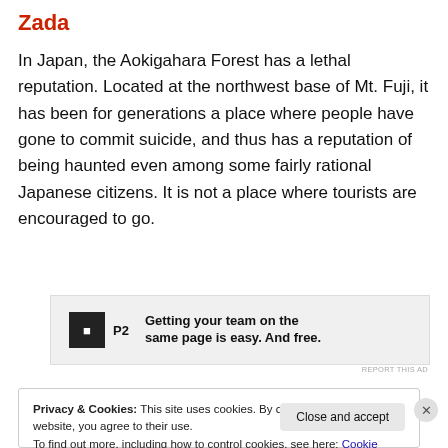Zada
In Japan, the Aokigahara Forest has a lethal reputation. Located at the northwest base of Mt. Fuji, it has been for generations a place where people have gone to commit suicide, and thus has a reputation of being haunted even among some fairly rational Japanese citizens. It is not a place where tourists are encouraged to go.
[Figure (other): Advertisement banner for P2 service with text: Getting your team on the same page is easy. And free.]
Privacy & Cookies: This site uses cookies. By continuing to use this website, you agree to their use.
To find out more, including how to control cookies, see here: Cookie Policy
Close and accept